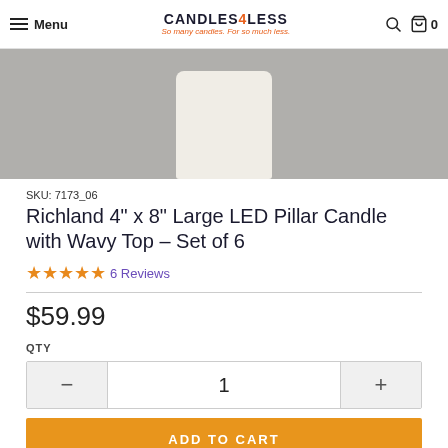Menu | CANDLES4LESS So many candles. For so much less. | Search | Cart 0
[Figure (photo): Close-up product photo of a white/ivory pillar candle on a gray background]
SKU: 7173_06
Richland 4" x 8" Large LED Pillar Candle with Wavy Top - Set of 6
★★★★★ 6 Reviews
$59.99
QTY
1
ADD TO CART